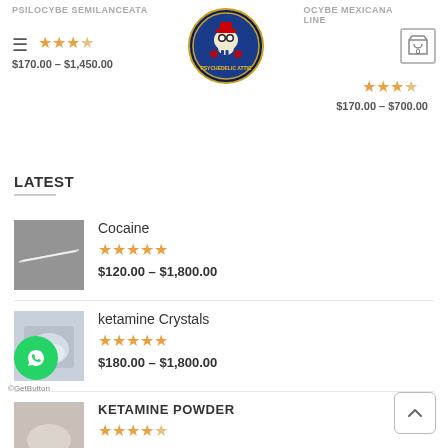PSILOCYBE SEMILANCEATA
[Figure (logo): Circular logo with skull graphic and colorful text]
OCYBE MEXICANA
OCYBE MEXICANA LINE
$170.00 – $1,450.00
$170.00 – $700.00
LATEST
[Figure (photo): Photo of cocaine powder line]
Cocaine
★★★★★
$120.00 – $1,800.00
[Figure (photo): Photo of ketamine crystals in bag]
ketamine Crystals
★★★★★
$180.00 – $1,800.00
[Figure (photo): Photo of ketamine powder]
KETAMINE POWDER
★★★★☆